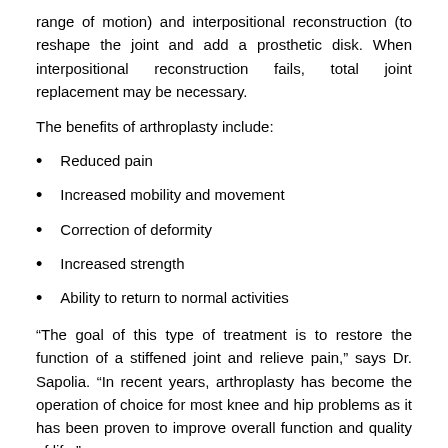range of motion) and interpositional reconstruction (to reshape the joint and add a prosthetic disk. When interpositional reconstruction fails, total joint replacement may be necessary.
The benefits of arthroplasty include:
Reduced pain
Increased mobility and movement
Correction of deformity
Increased strength
Ability to return to normal activities
“The goal of this type of treatment is to restore the function of a stiffened joint and relieve pain,” says Dr. Sapolia. “In recent years, arthroplasty has become the operation of choice for most knee and hip problems as it has been proven to improve overall function and quality of life.”